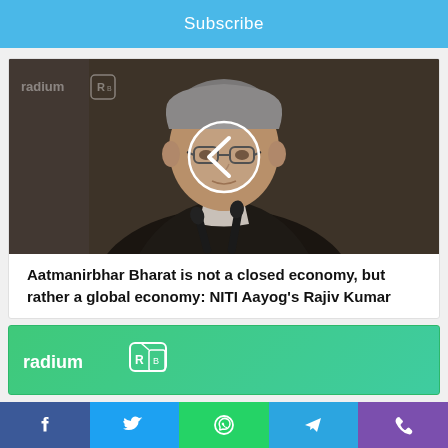Subscribe
[Figure (photo): A middle-aged Indian man with grey hair, wearing glasses and a dark suit, speaking at a microphone at a conference. A circular back-arrow navigation button is overlaid in the center. Radium watermark logo in top-left corner.]
Aatmanirbhar Bharat is not a closed economy, but rather a global economy: NITI Aayog's Rajiv Kumar
[Figure (logo): Radium logo banner with green gradient background]
Facebook | Twitter | WhatsApp | Telegram | Phone